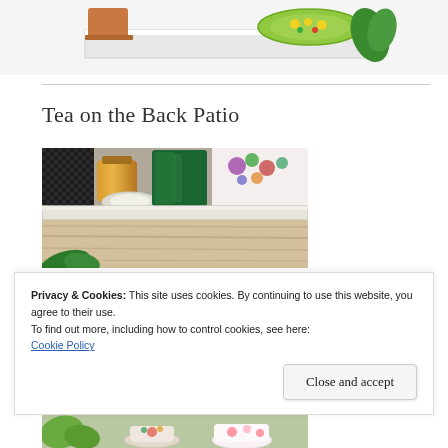[Figure (photo): Partial view of a white table or shelf with a decorative plate with fruit design, and a potted plant visible at the edge]
Tea on the Back Patio
[Figure (photo): Close-up photo of a patio table setup with dark fabric, an amber/honey jar, dark green glass vessels, and a floral teapot or pitcher, with a wood shelf visible below]
Privacy & Cookies: This site uses cookies. By continuing to use this website, you agree to their use.
To find out more, including how to control cookies, see here:
Cookie Policy
Close and accept
[Figure (photo): Bottom strip of another photo showing tea items on a patio, partially visible]